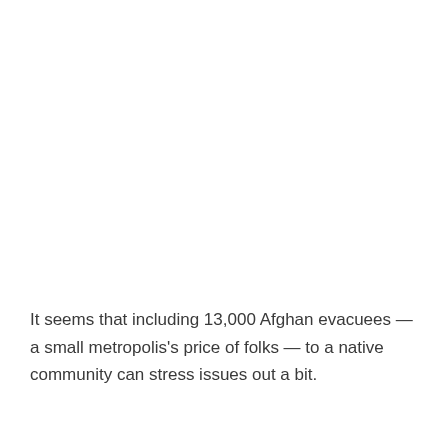It seems that including 13,000 Afghan evacuees — a small metropolis's price of folks — to a native community can stress issues out a bit.